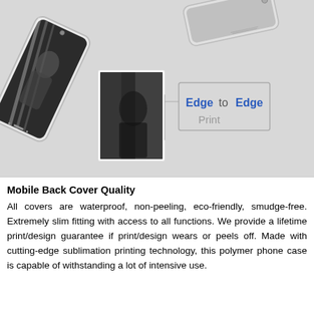[Figure (photo): Product mockup image showing two smartphones with a custom printed back cover featuring a black and white photo of a person. The back cover shows edge-to-edge print capability, with a callout box and label reading 'Edge to Edge Print' in blue and gray text on a light gray background.]
Mobile Back Cover Quality
All covers are waterproof, non-peeling, eco-friendly, smudge-free. Extremely slim fitting with access to all functions. We provide a lifetime print/design guarantee if print/design wears or peels off. Made with cutting-edge sublimation printing technology, this polymer phone case is capable of withstanding a lot of intensive use.